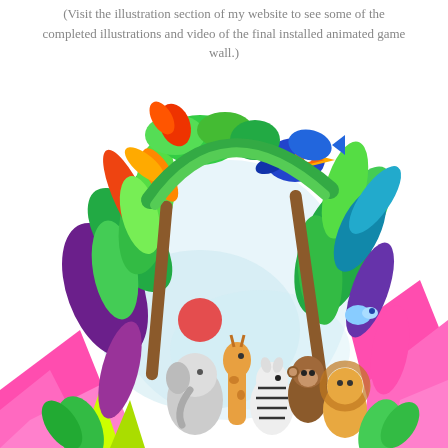(Visit the illustration section of my website to see some of the completed illustrations and video of the final installed animated game wall.)
[Figure (illustration): Colorful children's illustration of a jungle/safari scene with an arch of tropical plants, birds (including a toucan), and cartoon animals at the bottom including an elephant, giraffe, zebra, monkey, and others. Hot pink splashes/shapes appear on the lower edges. Red circle/ball visible inside the arch against a pale background.]